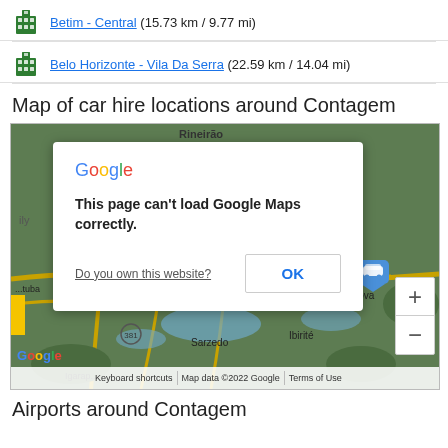Betim - Central (15.73 km / 9.77 mi)
Belo Horizonte - Vila Da Serra (22.59 km / 14.04 mi)
Map of car hire locations around Contagem
[Figure (screenshot): Google Maps screenshot showing Betim area with a Google error dialog: 'This page can't load Google Maps correctly.' with OK button and 'Do you own this website?' link. Map shows Betim, Sarzedo, Ibirité, Nova area with car hire markers. Keyboard shortcuts, Map data ©2022 Google, Terms of Use footer.]
Airports around Contagem